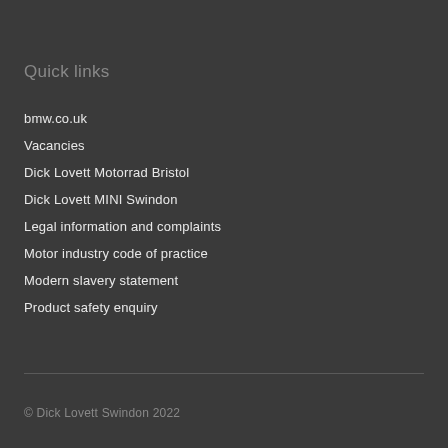Quick links
bmw.co.uk
Vacancies
Dick Lovett Motorrad Bristol
Dick Lovett MINI Swindon
Legal information and complaints
Motor industry code of practice
Modern slavery statement
Product safety enquiry
© Dick Lovett Swindon 2022